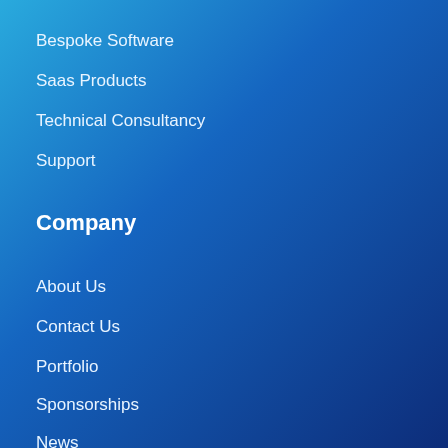Bespoke Software
Saas Products
Technical Consultancy
Support
Company
About Us
Contact Us
Portfolio
Sponsorships
News